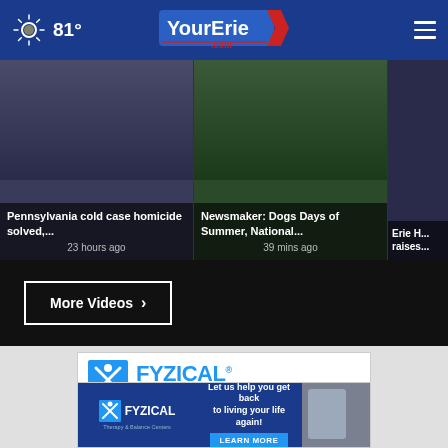81° YourErie.com
[Figure (screenshot): News video thumbnails: Pennsylvania cold case homicide solved (23 hours ago), Newsmaker: Dogs Days of Summer, National... (39 mins ago), Erie H... raises...]
Pennsylvania cold case homicide solved,...
23 hours ago
Newsmaker: Dogs Days of Summer, National...
39 mins ago
Erie H... raises...
More Videos ›
[Figure (photo): FYZICAL Therapy & Balance Centers advertisement. CAR INJURY? INJURED ON THE JOB? Let us help you.]
[Figure (photo): FYZICAL Therapy & Balance Centers bottom banner ad: Let us help you get back to living your life again! LEARN MORE]